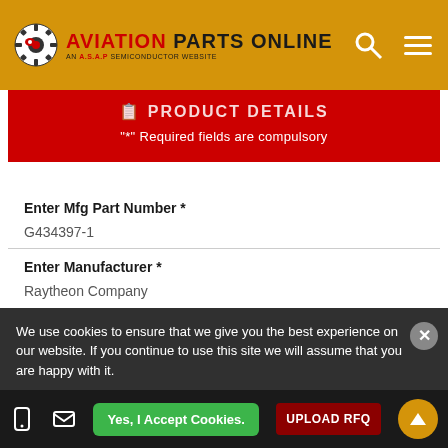[Figure (logo): Aviation Parts Online logo with red gear icon and text on golden/amber background]
PRODUCT DETAILS
"*" Required fields are compulsory
Enter Mfg Part Number *
G434397-1
Enter Manufacturer *
Raytheon Company
Enter Quantity (ea) *
We use cookies to ensure that we give you the best experience on our website. If you continue to use this site we will assume that you are happy with it.
Yes, I Accept Cookies.
UPLOAD RFQ